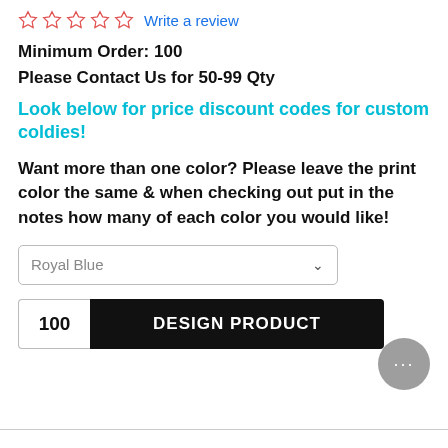☆☆☆☆☆ Write a review
Minimum Order: 100
Please Contact Us for 50-99 Qty
Look below for price discount codes for custom coldies!
Want more than one color? Please leave the print color the same & when checking out put in the notes how many of each color you would like!
Royal Blue (dropdown)
100  DESIGN PRODUCT